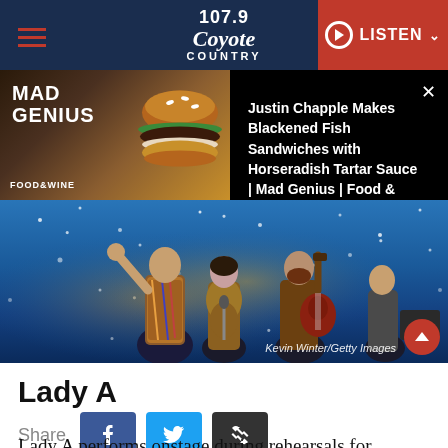107.9 Coyote Country | LISTEN
[Figure (screenshot): Ad banner for Mad Genius / Food & Wine video: Justin Chapple Makes Blackened Fish Sandwiches with Horseradish Tartar Sauce | Mad Genius | Food & Wine]
[Figure (photo): Lady A performing onstage, three members visible with guitarist, snowy bokeh background. Photo credit: Kevin Winter/Getty Images]
Lady A
Share
Lady A performs onstage during rehearsals for